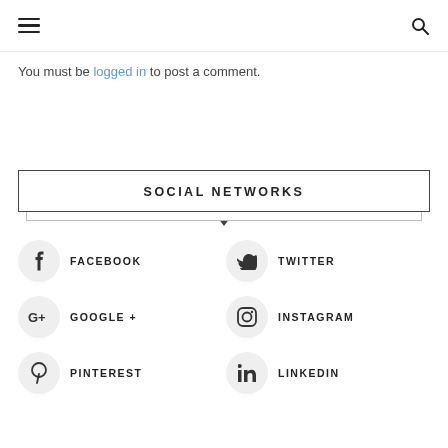≡  🔍
You must be logged in to post a comment.
SOCIAL NETWORKS
FACEBOOK
TWITTER
GOOGLE +
INSTAGRAM
PINTEREST
LINKEDIN